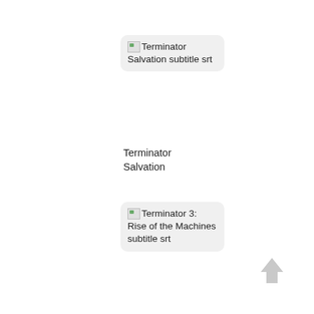[Figure (screenshot): Thumbnail placeholder image labeled 'Terminator Salvation subtitle srt' with broken image icon, shown in a rounded grey box]
Terminator Salvation
[Figure (screenshot): Thumbnail placeholder image labeled 'Terminator 3: Rise of the Machines subtitle srt' with broken image icon, shown in a rounded grey box]
Terminator 3: Rise of the Machines
[Figure (screenshot): Thumbnail placeholder image labeled 'Clash of the Titans subtitle srt' with broken image icon, shown in a rounded grey box (partially visible)]